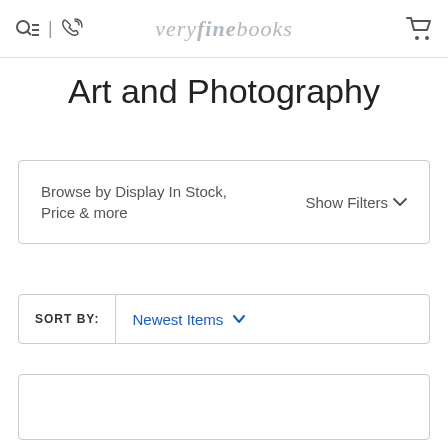veryfinebooks
Art and Photography
Browse by Display In Stock, Price & more
Show Filters
SORT BY: Newest Items